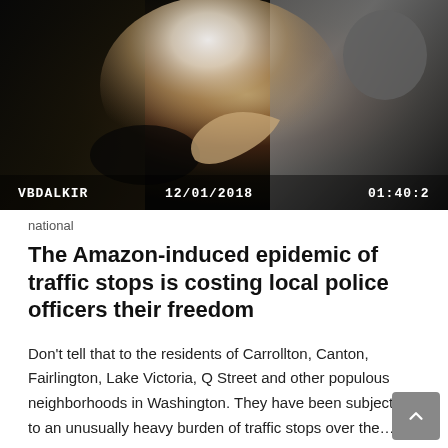[Figure (photo): Dashcam footage screenshot showing a person inside a vehicle at night. Overlay text shows 'VBDALKIR', '12/01/2018', and '01:40:2' timestamp.]
national
The Amazon-induced epidemic of traffic stops is costing local police officers their freedom
Don't tell that to the residents of Carrollton, Canton, Fairlington, Lake Victoria, Q Street and other populous neighborhoods in Washington. They have been subjected to an unusually heavy burden of traffic stops over the...